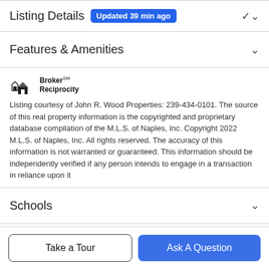Listing Details  Updated 39 min ago
Features & Amenities
[Figure (logo): Broker Reciprocity logo with house icon]
Listing courtesy of John R. Wood Properties: 239-434-0101. The source of this real property information is the copyrighted and proprietary database compilation of the M.L.S. of Naples, Inc. Copyright 2022 M.L.S. of Naples, Inc. All rights reserved. The accuracy of this information is not warranted or guaranteed. This information should be independently verified if any person intends to engage in a transaction in reliance upon it
Schools
Take a Tour
Ask A Question